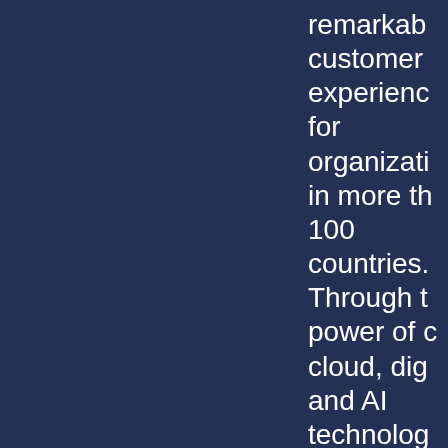remarkable customer experiences for organizations in more than 100 countries. Through the power of cloud, digital and AI technologies organizations can realize Experience as a Service℠ our vision empathetic customer experiences